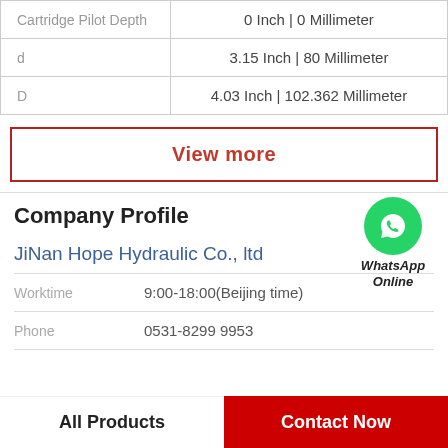| Property | Value |
| --- | --- |
| Cartridge Pilot Depth | 0 Inch | 0 Millimeter |
| d | 3.15 Inch | 80 Millimeter |
| D | 4.03 Inch | 102.362 Millimeter |
View more
Company Profile
[Figure (logo): WhatsApp Online green circle icon with phone handset, labeled WhatsApp Online]
JiNan Hope Hydraulic Co., ltd
Worktime  9:00-18:00(Beijing time)
Phone  0531-8299 9953
All Products
Contact Now